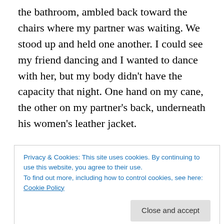the bathroom, ambled back toward the chairs where my partner was waiting. We stood up and held one another. I could see my friend dancing and I wanted to dance with her, but my body didn't have the capacity that night. One hand on my cane, the other on my partner's back, underneath his women's leather jacket.
Black, lace, leather, florals.
The singer and I had similar Hedwig and the Angry Inch tattoos. I mean, so many of us do. I appreciate these sightings
Privacy & Cookies: This site uses cookies. By continuing to use this website, you agree to their use.
To find out more, including how to control cookies, see here: Cookie Policy
again, dancing vaguely. I held a firm but flexible stance,